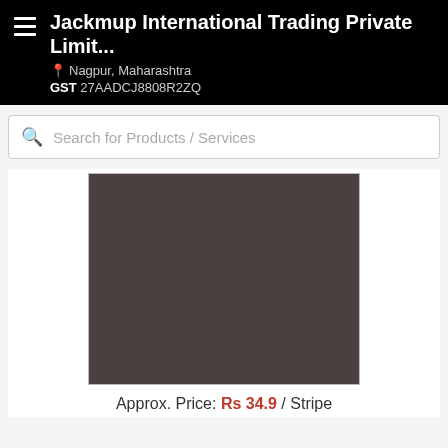Jackmup International Trading Private Limit... | Nagpur, Maharashtra | GST 27AADCJ8808R2ZQ
Search for Products / Services
[Figure (photo): Product image placeholder — solid dark brownish-grey rectangle representing a product photo]
Approx. Price: Rs 34.9 / Stripe